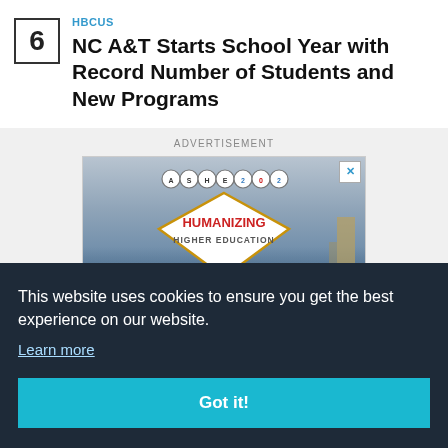6
HBCUS
NC A&T Starts School Year with Record Number of Students and New Programs
ADVERTISEMENT
[Figure (illustration): ASHE 2022 Humanizing Higher Education advertisement banner with diamond-shaped logo on a city skyline background]
This website uses cookies to ensure you get the best experience on our website. Learn more
Got it!